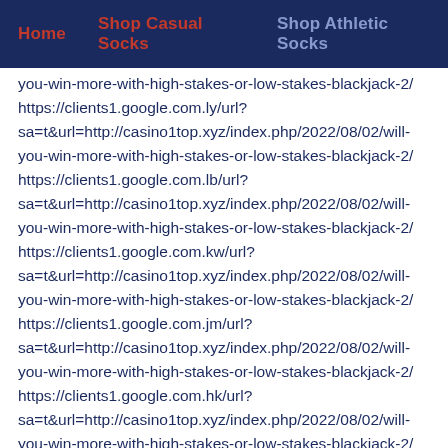Home   Shop Casual Socks   Shop Athletic Socks
you-win-more-with-high-stakes-or-low-stakes-blackjack-2/
https://clients1.google.com.ly/url?sa=t&url=http://casino1top.xyz/index.php/2022/08/02/will-you-win-more-with-high-stakes-or-low-stakes-blackjack-2/
https://clients1.google.com.lb/url?sa=t&url=http://casino1top.xyz/index.php/2022/08/02/will-you-win-more-with-high-stakes-or-low-stakes-blackjack-2/
https://clients1.google.com.kw/url?sa=t&url=http://casino1top.xyz/index.php/2022/08/02/will-you-win-more-with-high-stakes-or-low-stakes-blackjack-2/
https://clients1.google.com.jm/url?sa=t&url=http://casino1top.xyz/index.php/2022/08/02/will-you-win-more-with-high-stakes-or-low-stakes-blackjack-2/
https://clients1.google.com.hk/url?sa=t&url=http://casino1top.xyz/index.php/2022/08/02/will-you-win-more-with-high-stakes-or-low-stakes-blackjack-2/